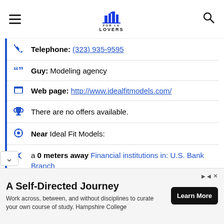FOR LA LOVERS
Telephone: (323) 935-9595
Guy: Modeling agency
Web page: http://www.idealfitmodels.com/
There are no offers available.
Near Ideal Fit Models:
a 0 meters away Financial institutions in: U.S. Bank Branch
a 0 meters away lawyers specialising in family law in: hans Family Law, APC
A Self-Directed Journey
Work across, between, and without disciplines to curate your own course of study. Hampshire College